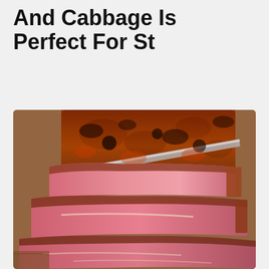And Cabbage Is Perfect For St
[Figure (photo): Close-up photo of sliced corned beef or roast beef on a wooden cutting board. The meat is sliced to reveal a pink interior with a seasoned, charred crust on top. The slices fan out showing the tender, pink meat inside.]